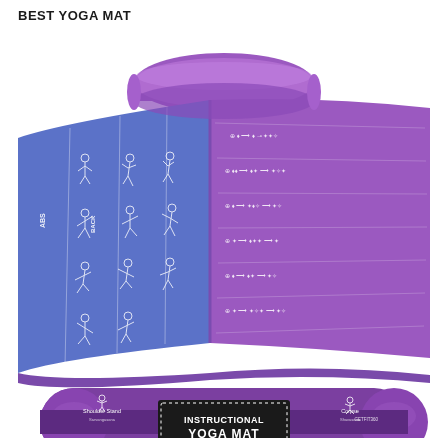BEST YOGA MAT
[Figure (photo): Product photo of an instructional yoga mat shown partially rolled up, displaying blue side with white yoga pose illustrations and purple side with pose diagrams and Sanskrit names. Below is the mat rolled up in its carrying strap showing a label that reads 'INSTRUCTIONAL YOGA MAT' with pose icons for Shoulder Stand and Corpse pose on either side.]